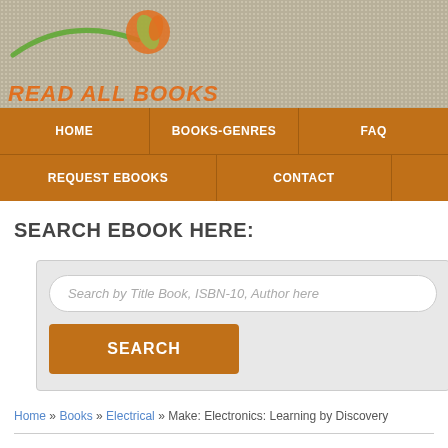[Figure (logo): Read All Books website logo with orange circular icon, green swoosh, and orange bold italic text 'READ ALL BOOKS' on a tan dotted background]
HOME | BOOKS-GENRES | FAQ | REQUEST EBOOKS | CONTACT
SEARCH EBOOK HERE:
[Figure (screenshot): Search box with text input placeholder 'Search by Title Book, ISBN-10, Author here' and an orange SEARCH button]
Home » Books » Electrical » Make: Electronics: Learning by Discovery
Make: Electronics: Learning by Discovery